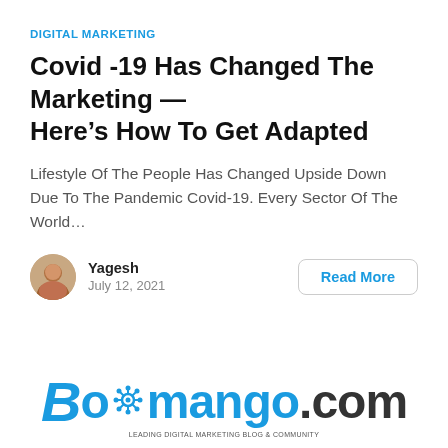DIGITAL MARKETING
Covid -19 Has Changed The Marketing — Here's How To Get Adapted
Lifestyle Of The People Has Changed Upside Down Due To The Pandemic Covid-19. Every Sector Of The World…
Yagesh
July 12, 2021
Read More
[Figure (logo): Boomango.com logo in blue and dark text with gear/network icon]